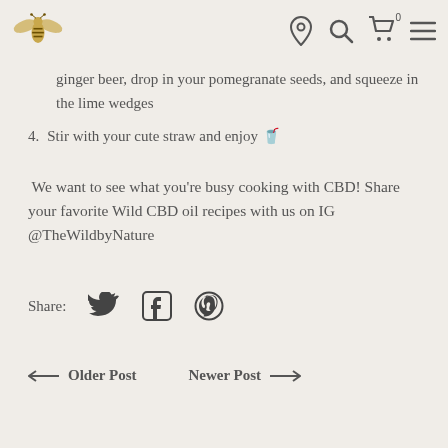Wild by Nature logo and navigation icons
ginger beer, drop in your pomegranate seeds, and squeeze in the lime wedges
4. Stir with your cute straw and enjoy 🥤
We want to see what you're busy cooking with CBD! Share your favorite Wild CBD oil recipes with us on IG @TheWildbyNature
Share: [Twitter] [Facebook] [Pinterest]
← Older Post   Newer Post →